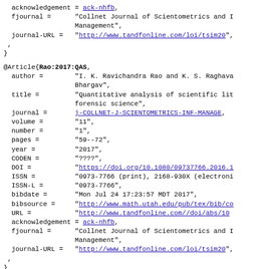acknowledgement = ack-nhfb,
  fjournal =      "Collnet Journal of Scientometrics and Information Management",
  journal-URL =   "http://www.tandfonline.com/loi/tsim20",
  onlinedate =    "10 Jul 2017",
}
@Article{Rao:2017:QAS,
  author =        "I. K. Ravichandra Rao and K. S. Raghavendra Bhargav",
  title =         "Quantitative analysis of scientific literature in forensic science",
  journal =       j-COLLNET-J-SCIENTOMETRICS-INF-MANAGE,
  volume =        "11",
  number =        "1",
  pages =         "59--72",
  year =          "2017",
  CODEN =         "????",
  DOI =           "https://doi.org/10.1080/09737766.2016.",
  ISSN =          "0973-7766 (print), 2168-930X (electronic)",
  ISSN-L =        "0973-7766",
  bibdate =       "Mon Jul 24 17:23:57 MDT 2017",
  bibsource =     "http://www.math.utah.edu/pub/tex/bib/co",
  URL =           "http://www.tandfonline.com//doi/abs/10",
  acknowledgement = ack-nhfb,
  fjournal =      "Collnet Journal of Scientometrics and Information Management",
  journal-URL =   "http://www.tandfonline.com/loi/tsim20",
  onlinedate =    "10 Jul 2017",
}